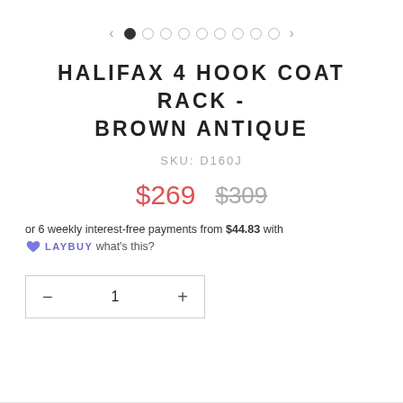[Figure (other): Carousel navigation with left arrow, 9 dots (first filled), and right arrow]
HALIFAX 4 HOOK COAT RACK - BROWN ANTIQUE
SKU: D160J
$269  $309
or 6 weekly interest-free payments from $44.83 with LAYBUY what's this?
— 1 +